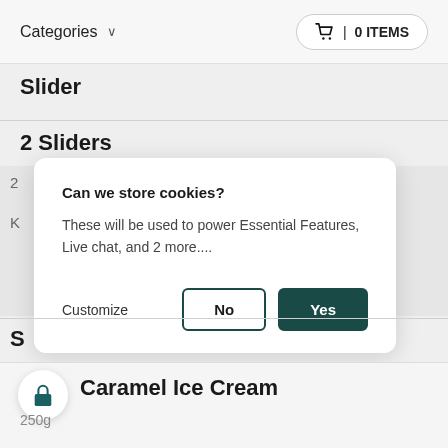Categories   ∨     🛒 | 0 ITEMS
Slider
2 Sliders
[Figure (screenshot): Cookie consent modal dialog with title 'Can we store cookies?', body text 'These will be used to power Essential Features, Live chat, and 2 more....', and three controls: Customize link, No button, Yes button]
Sc[rolled] Caramel Ice Cream
250g